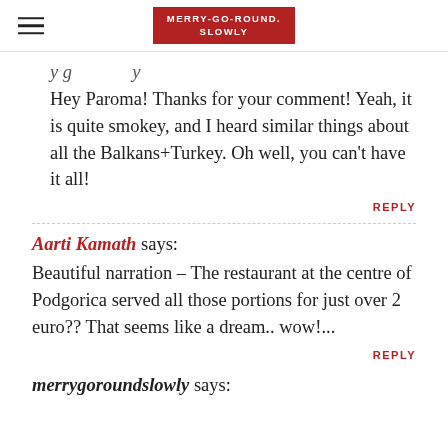MERRY-GO-ROUND. SLOWLY
Hey Paroma! Thanks for your comment! Yeah, it is quite smokey, and I heard similar things about all the Balkans+Turkey. Oh well, you can’t have it all!
REPLY
Aarti Kamath says:
Beautiful narration – The restaurant at the centre of Podgorica served all those portions for just over 2 euro?? That seems like a dream.. wow!...
REPLY
merrygoroundslowly says: